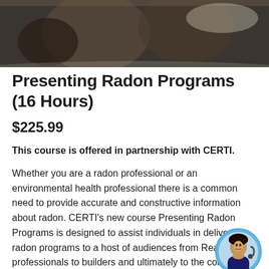[Figure (photo): Partial photo of people at a table in a professional/classroom setting, dark toned image cropped at top]
Presenting Radon Programs (16 Hours)
$225.99
This course is offered in partnership with CERTI.
Whether you are a radon professional or an environmental health professional there is a common need to provide accurate and constructive information about radon. CERTI's new course Presenting Radon Programs is designed to assist individuals in delivering radon programs to a host of audiences from Real Estate professionals to builders and ultimately to the consumer.